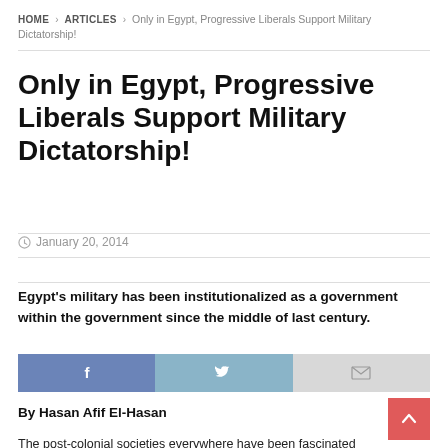HOME > ARTICLES > Only in Egypt, Progressive Liberals Support Military Dictatorship!
Only in Egypt, Progressive Liberals Support Military Dictatorship!
January 20, 2014
Egypt's military has been institutionalized as a government within the government since the middle of last century.
[Figure (other): Social share buttons: Facebook, Twitter, Email]
By Hasan Afif El-Hasan
The post-colonial societies everywhere have been fascinated